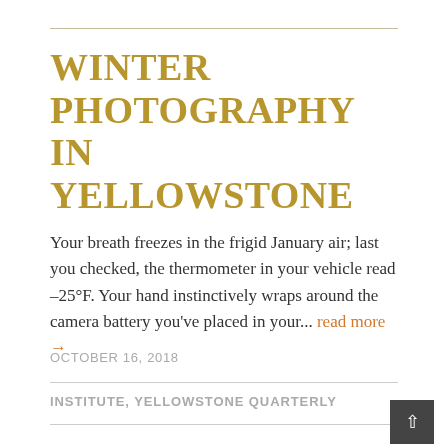WINTER PHOTOGRAPHY IN YELLOWSTONE
Your breath freezes in the frigid January air; last you checked, the thermometer in your vehicle read –25°F. Your hand instinctively wraps around the camera battery you've placed in your... read more →
OCTOBER 16, 2018
INSTITUTE, YELLOWSTONE QUARTERLY